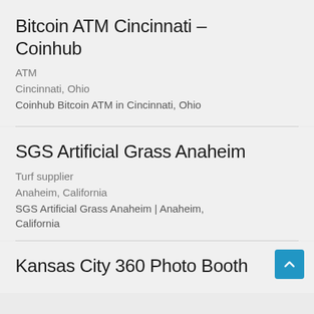Bitcoin ATM Cincinnati – Coinhub
ATM
Cincinnati, Ohio
Coinhub Bitcoin ATM in Cincinnati, Ohio
SGS Artificial Grass Anaheim
Turf supplier
Anaheim, California
SGS Artificial Grass Anaheim | Anaheim, California
Kansas City 360 Photo Booth